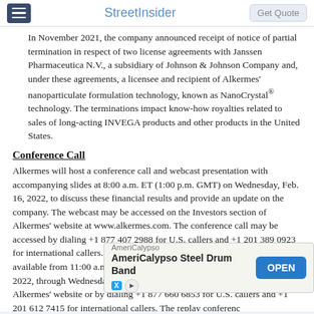StreetInsider
In November 2021, the company announced receipt of notice of partial termination in respect of two license agreements with Janssen Pharmaceutica N.V., a subsidiary of Johnson & Johnson Company and, under these agreements, a licensee and recipient of Alkermes' nanoparticulate formulation technology, known as NanoCrystal® technology. The terminations impact know-how royalties related to sales of long-acting INVEGA products and other products in the United States.
Conference Call
Alkermes will host a conference call and webcast presentation with accompanying slides at 8:00 a.m. ET (1:00 p.m. GMT) on Wednesday, Feb. 16, 2022, to discuss these financial results and provide an update on the company. The webcast may be accessed on the Investors section of Alkermes' website at www.alkermes.com. The conference call may be accessed by dialing +1 877 407 2988 for U.S. callers and +1 201 389 0923 for international callers. In addition, a replay of the conference call will be available from 11:00 a.m. ET (4:00 p.m. GMT) on Wednesday, Feb. 16, 2022, through Wednesday, Feb. 23, 2022, and may be accessed by visiting Alkermes' website or by dialing +1 877 660 6853 for U.S. callers and +1 201 612 7415 for international callers. The replay conference ID is 13726455.
About Al